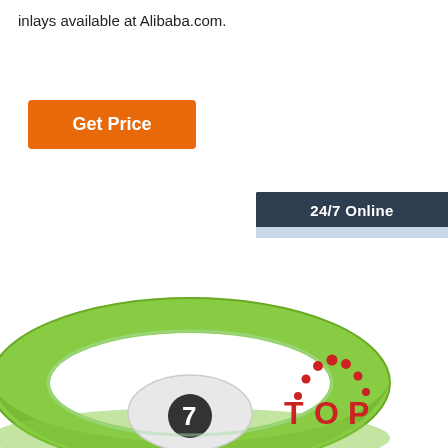inlays available at Alibaba.com.
Get Price
[Figure (photo): Customer service representative widget with '24/7 Online' header, photo of smiling woman with headset, 'Click here for free chat!' text, and orange QUOTATION button]
[Figure (photo): Green silicone RFID wristband with white oval module showing number, viewed from slight above angle]
[Figure (logo): TOP logo with red dotted arc above the text]